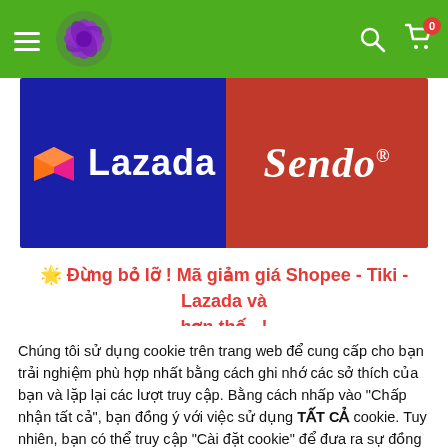Navigation bar with hamburger menu, flower logo, search icon, cart icon with badge 0
[Figure (logo): Banner showing Lazada logo (dark blue background, orange-pink 3D box icon, white Lazada text) on the left and Sendo logo (red background, white italic Sendo text with registered trademark) on the right]
🌟 Đừng bỏ lỡ ! Mã giảm giá Shopee - Tiki - Lazada và hơn thế...!
Chúng tôi sử dụng cookie trên trang web để cung cấp cho bạn trải nghiệm phù hợp nhất bằng cách ghi nhớ các sở thích của bạn và lặp lại các lượt truy cập. Bằng cách nhấp vào "Chấp nhận tất cả", bạn đồng ý với việc sử dụng TẤT CẢ cookie. Tuy nhiên, bạn có thể truy cập "Cài đặt cookie" để đưa ra sự đồng ý có kiểm soát.
Tùy chọn Cookie
Chấp Nhận